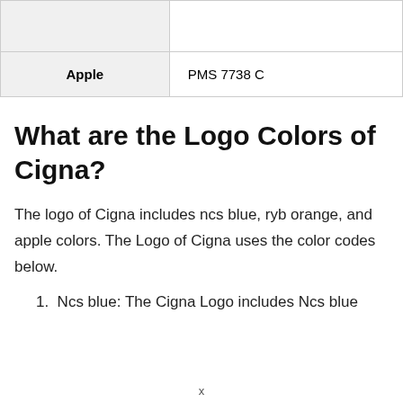|  |  |
| Apple | PMS 7738 C |
What are the Logo Colors of Cigna?
The logo of Cigna includes ncs blue, ryb orange, and apple colors. The Logo of Cigna uses the color codes below.
1. Ncs blue: The Cigna Logo includes Ncs blue